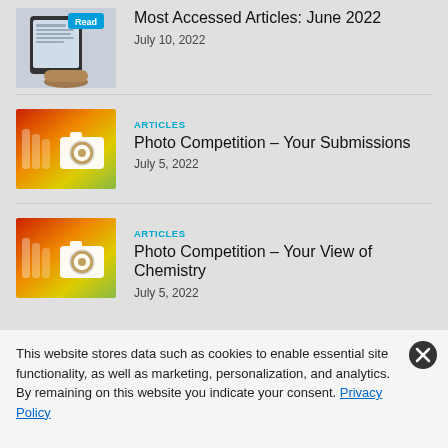Most Accessed Articles: June 2022
July 10, 2022
ARTICLES
Photo Competition – Your Submissions
July 5, 2022
ARTICLES
Photo Competition – Your View of Chemistry
July 5, 2022
This website stores data such as cookies to enable essential site functionality, as well as marketing, personalization, and analytics. By remaining on this website you indicate your consent. Privacy Policy